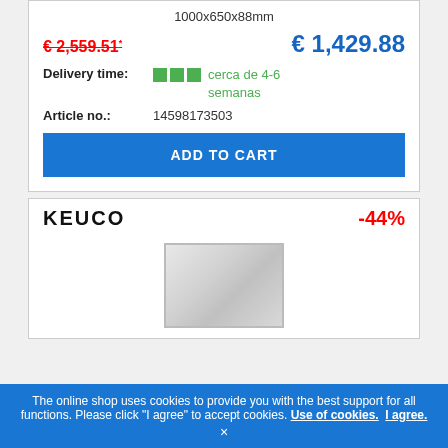1000x650x88mm
€ 2,559.51* (strikethrough, old price)
€ 1,429.88 (current price)
Delivery time: cerca de 4-6 semanas
Article no.: 14598173503
ADD TO CART
KEUCO
-44%
[Figure (photo): Product mirror image with silver/grey gradient rectangular frame]
The online shop uses cookies to provide you with the best support for all functions. Please click "I agree" to accept cookies. Use of cookies. I agree.